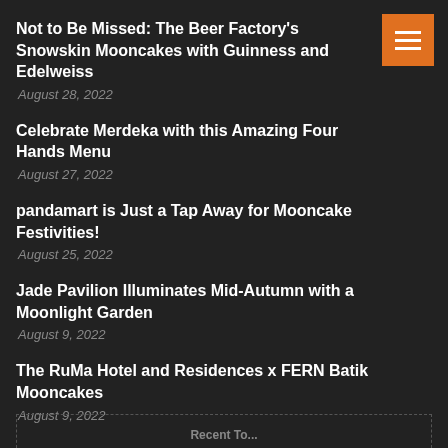Not to Be Missed: The Beer Factory's Snowskin Mooncakes with Guinness and Edelweiss
August 28, 2022
Celebrate Merdeka with this Amazing Four Hands Menu
August 27, 2022
pandamart is Just a Tap Away for Mooncake Festivities!
August 25, 2022
Jade Pavilion Illuminates Mid-Autumn with a Moonlight Garden
August 9, 2022
The RuMa Hotel and Residences x FERN Batik Mooncakes
August 9, 2022